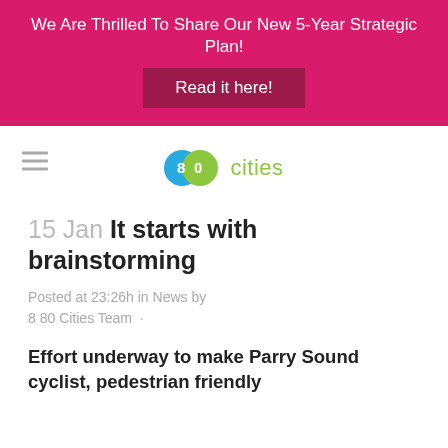We Are Thrilled To Share Our New 5-Year Strategic Plan! Read it here!
[Figure (logo): 880 Cities logo with overlapping blue and green circles and the word 'cities' in green]
15 Jan It starts with brainstorming
Posted at 23:26h in News by 8 80 Cities Team ·
Effort underway to make Parry Sound cyclist, pedestrian friendly